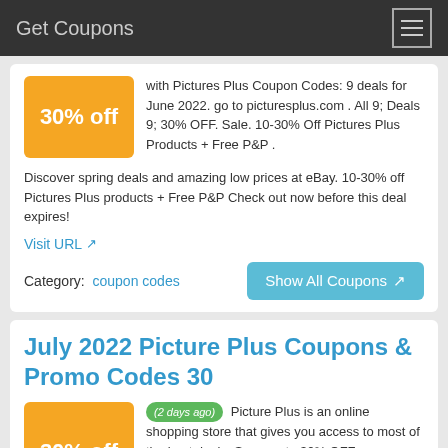Get Coupons
with Pictures Plus Coupon Codes: 9 deals for June 2022. go to picturesplus.com . All 9; Deals 9; 30% OFF. Sale. 10-30% Off Pictures Plus Products + Free P&P . Discover spring deals and amazing low prices at eBay. 10-30% off Pictures Plus products + Free P&P Check out now before this deal expires!
Visit URL
Category: coupon codes
July 2022 Picture Plus Coupons & Promo Codes 30
(2 days ago) Picture Plus is an online shopping store that gives you access to most of the best deals. Save up to 30% OFF on Photography orders. For example,
today's best coupon: Picture Plus Promo Codes July 2022